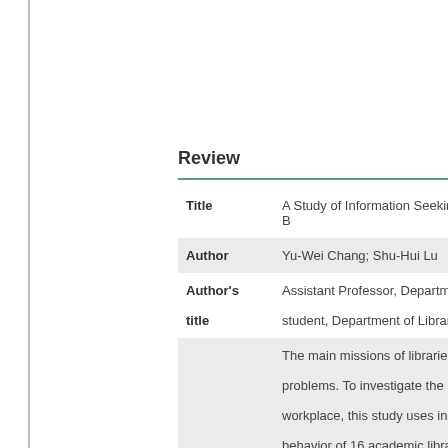Review
| Title | A Study of Information Seeking B... |
| Author | Yu-Wei Chang; Shu-Hui Lu |
| Author's title | Assistant Professor, Department... student, Department of Library a... |
| Abstract | The main missions of libraries a... problems. To investigate the me... workplace, this study uses in-de... behavior of 16 academic libraria... information needs are highly ass... |